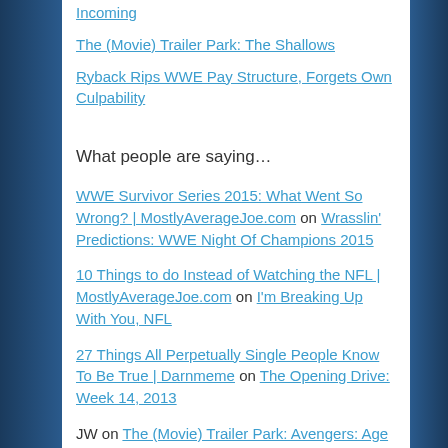Incoming
The (Movie) Trailer Park: The Shallows
Ryback Rips WWE Pay Structure, Forgets Own Culpability
What people are saying…
WWE Survivor Series 2015: What Went So Wrong? | MostlyAverageJoe.com on Wrasslin' Predictions: WWE Night Of Champions 2015
10 Things to do Instead of Watching the NFL | MostlyAverageJoe.com on I'm Breaking Up With You, NFL
27 Things All Perpetually Single People Know To Be True | Darnmeme on The Opening Drive: Week 14, 2013
JW on The (Movie) Trailer Park: Avengers: Age of Ultron
The (Movie) Trailer Park: (partially visible)